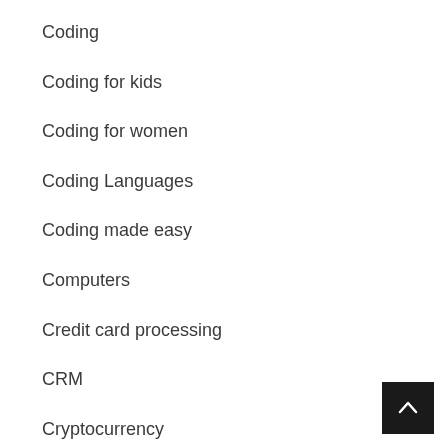Coding
Coding for kids
Coding for women
Coding Languages
Coding made easy
Computers
Credit card processing
CRM
Cryptocurrency
CSS